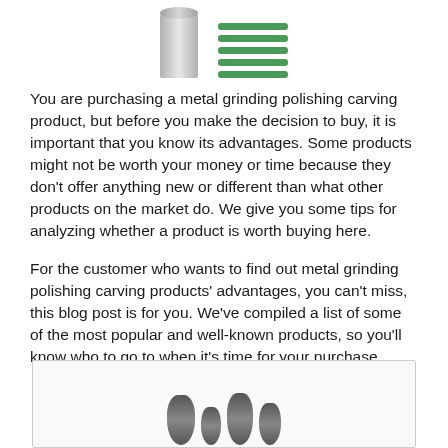[Figure (photo): Product images at top: a metal cylindrical grinding bit and green rubber/silicone polishing coils/rings, partially cut off at top of page]
You are purchasing a metal grinding polishing carving product, but before you make the decision to buy, it is important that you know its advantages. Some products might not be worth your money or time because they don't offer anything new or different than what other products on the market do. We give you some tips for analyzing whether a product is worth buying here.
For the customer who wants to find out metal grinding polishing carving products' advantages, you can't miss, this blog post is for you. We've compiled a list of some of the most popular and well-known products, so you'll know who to go to when it's time for your purchase.
[Figure (photo): Image box at bottom showing metal carving/grinding bit accessories, partially visible — multiple fluted/spiral carbide burr bits shown]